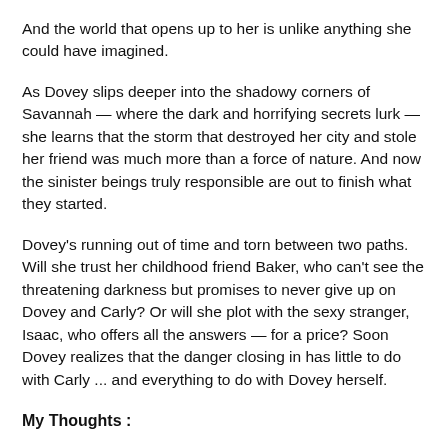And the world that opens up to her is unlike anything she could have imagined.
As Dovey slips deeper into the shadowy corners of Savannah — where the dark and horrifying secrets lurk — she learns that the storm that destroyed her city and stole her friend was much more than a force of nature. And now the sinister beings truly responsible are out to finish what they started.
Dovey's running out of time and torn between two paths. Will she trust her childhood friend Baker, who can't see the threatening darkness but promises to never give up on Dovey and Carly? Or will she plot with the sexy stranger, Isaac, who offers all the answers — for a price? Soon Dovey realizes that the danger closing in has little to do with Carly ... and everything to do with Dovey herself.
My Thoughts :
When Hurricane Josephine hits, Dovey and her best friend Carly are at Carlys house. When the downstairs start to flood